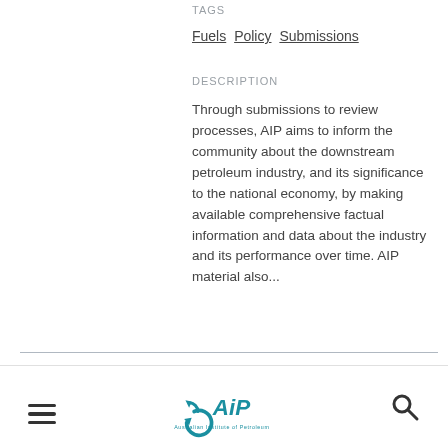TAGS
Fuels Policy Submissions
DESCRIPTION
Through submissions to review processes, AIP aims to inform the community about the downstream petroleum industry, and its significance to the national economy, by making available comprehensive factual information and data about the industry and its performance over time. AIP material also...
Submission to NSW
[Figure (logo): AIP Australian Institute of Petroleum logo with circular arrow emblem]
AIP — Australian Institute of Petroleum navigation bar with hamburger menu, logo, and search icon